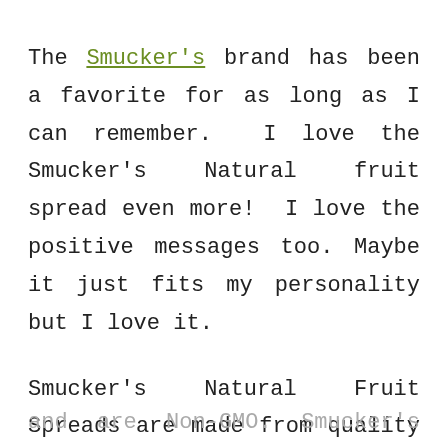The Smucker's brand has been a favorite for as long as I can remember.  I love the Smucker's Natural fruit spread even more!  I love the positive messages too.  Maybe it just fits my personality but I love it.

Smucker's Natural Fruit Spreads are made from quality ingredients from natural sources that are full of flavor
and are Non-GMO. Smucker's Natural